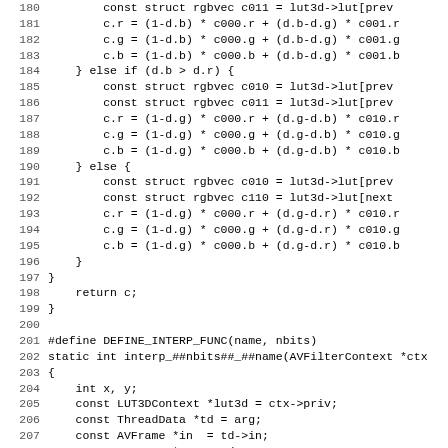Source code listing lines 180-211, C code for LUT3D interpolation functions